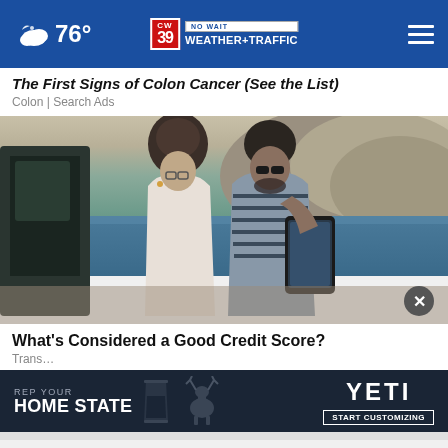76° CW39 NO WAIT WEATHER+TRAFFIC
The First Signs of Colon Cancer (See the List)
Colon | Search Ads
[Figure (photo): A couple leaning against a car near a coastline, looking at a phone together. Rocky cliffs and blue water visible in the background.]
What's Considered a Good Credit Score?
Trans...
[Figure (other): YETI advertisement banner: REP YOUR HOME STATE with cup and deer graphics, START CUSTOMIZING button]